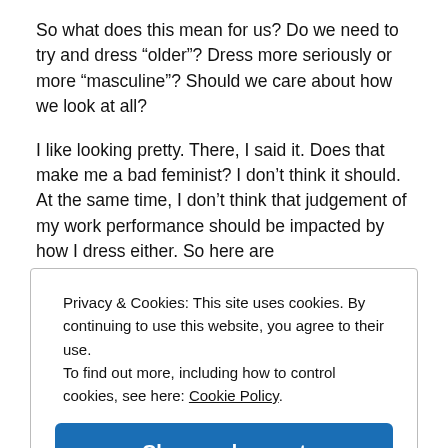So what does this mean for us? Do we need to try and dress “older”? Dress more seriously or more “masculine”? Should we care about how we look at all?
I like looking pretty. There, I said it. Does that make me a bad feminist? I don’t think it should. At the same time, I don’t think that judgement of my work performance should be impacted by how I dress either. So here are
Privacy & Cookies: This site uses cookies. By continuing to use this website, you agree to their use.
To find out more, including how to control cookies, see here: Cookie Policy
Close and accept
fashion skills. Is fashion a skill? Doesn’t matter what it’s